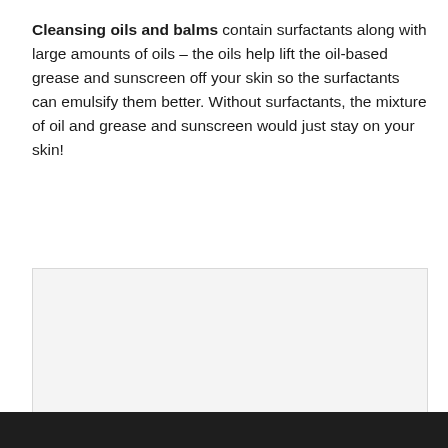Cleansing oils and balms contain surfactants along with large amounts of oils – the oils help lift the oil-based grease and sunscreen off your skin so the surfactants can emulsify them better. Without surfactants, the mixture of oil and grease and sunscreen would just stay on your skin!
[Figure (other): A light gray placeholder image box with a thin border, representing an image that would appear in this section of the article.]